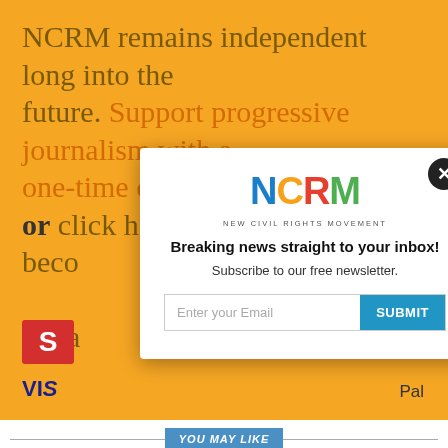NCRM remains independent long into the future. Support progressive journalism with a one-time contribution to NCRM, or click here to become a monthly donor. Click here to donate
[Figure (screenshot): NCRM newsletter modal popup with NCRM colorful logo, 'Breaking news straight to your inbox!' headline, 'Subscribe to our free newsletter.' subtext, email input field and SUBMIT button, and a close X button]
YOU MAY LIKE
[Figure (photo): Thumbnail photo of Joe Biden looking serious]
'Dead Wrong': Biden Goes on Offensive Over Student Loan Plan – Won't 'Apologize to Folks Who Voted for $2 Trillion Tax Cut'